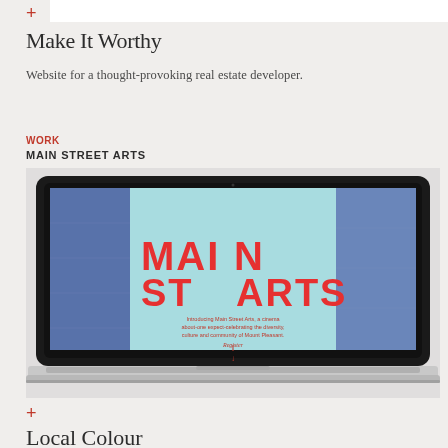Make It Worthy
Website for a thought-provoking real estate developer.
WORK
MAIN STREET ARTS
[Figure (screenshot): MacBook laptop displaying the Main Street Arts website with a light blue background, large red bold text reading 'MAIN ST A RTS' with blue photographic panels on the sides, introductory text and a register link in the center]
Local Colour